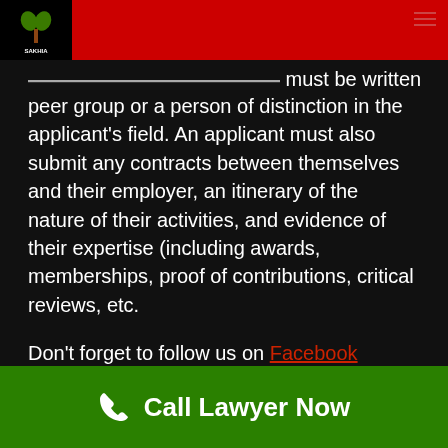Sakhia Law Group
must be written from a peer group or a person of distinction in the applicant's field. An applicant must also submit any contracts between themselves and their employer, an itinerary of the nature of their activities, and evidence of their expertise (including awards, memberships, proof of contributions, critical reviews, etc.
Don't forget to follow us on Facebook
Your name
Call Lawyer Now